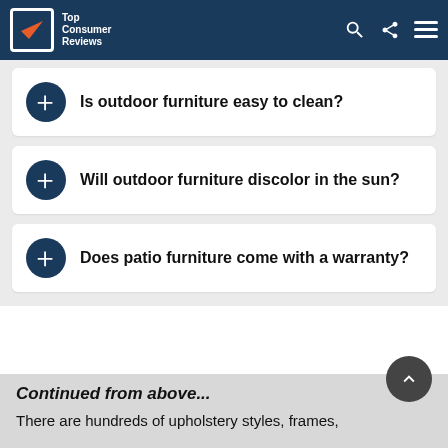[Figure (logo): Top Consumer Reviews logo with checkmark icon on dark blue header bar with search, share, and menu icons]
Is outdoor furniture easy to clean?
Will outdoor furniture discolor in the sun?
Does patio furniture come with a warranty?
Continued from above...
There are hundreds of upholstery styles, frames,